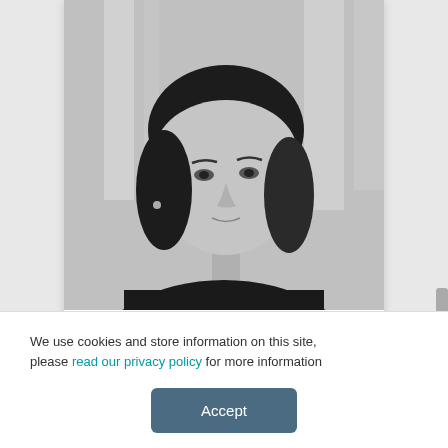[Figure (photo): Black and white portrait photo of a woman with dark shoulder-length hair, looking upward slightly. She is wearing a dark top. Background shows blurred vertical light shapes.]
[Figure (logo): Microsoft logo with four colored squares (red, green, blue, yellow) followed by the word Microsoft in grey.]
We use cookies and store information on this site, please read our privacy policy for more information
Accept